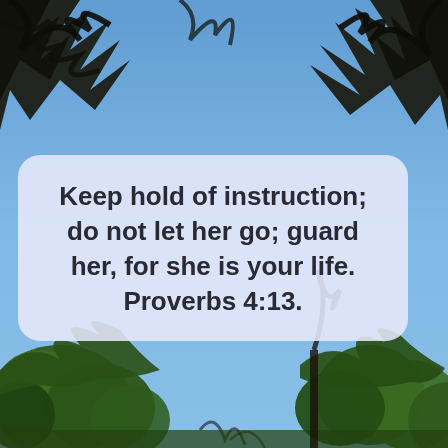[Figure (photo): Upward view of tall pine trees against a bright blue sky, with dark silhouetted branches framing the top corners and green leafy trees visible at the bottom.]
Keep hold of instruction; do not let her go; guard her, for she is your life. Proverbs 4:13.